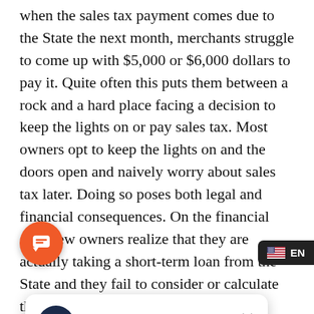when the sales tax payment comes due to the State the next month, merchants struggle to come up with $5,000 or $6,000 dollars to pay it. Quite often this puts them between a rock and a hard place facing a decision to keep the lights on or pay sales tax. Most owners opt to keep the lights on and the doors open and naively worry about sales tax later. Doing so poses both legal and financial consequences. On the financial side, few owners realize that they are actually taking a short-term loan from the State and they fail to consider or calculate the true cost of [obscured] fund their business. [obscured] that, in some [obscured] er this to be a
[Figure (screenshot): Chat popup overlay with DAVO logo and message: Hi there. 👋 Any thing I can help you with? with a close X button]
Unfortunately in many cases like this, the saga [does not] end here. Instead this is the beginning of a very long uphill battle for the business to get back on track. Quite often a missed sales tax payme[nt]